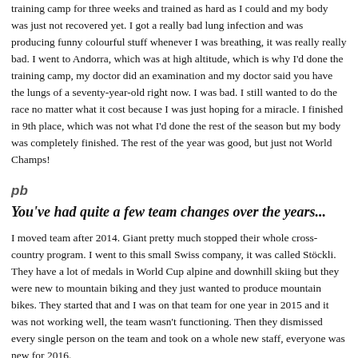training camp for three weeks and trained as hard as I could and my body was just not recovered yet. I got a really bad lung infection and was producing funny colourful stuff whenever I was breathing, it was really really bad. I went to Andorra, which was at high altitude, which is why I'd done the training camp, my doctor did an examination and my doctor said you have the lungs of a seventy-year-old right now. I was bad. I still wanted to do the race no matter what it cost because I was just hoping for a miracle. I finished in 9th place, which was not what I'd done the rest of the season but my body was completely finished. The rest of the year was good, but just not World Champs!
You've had quite a few team changes over the years...
I moved team after 2014. Giant pretty much stopped their whole cross-country program. I went to this small Swiss company, it was called Stöckli. They have a lot of medals in World Cup alpine and downhill skiing but they were new to mountain biking and they just wanted to produce mountain bikes. They started that and I was on that team for one year in 2015 and it was not working well, the team wasn't functioning. Then they dismissed every single person on the team and took on a whole new staff, everyone was new for 2016.